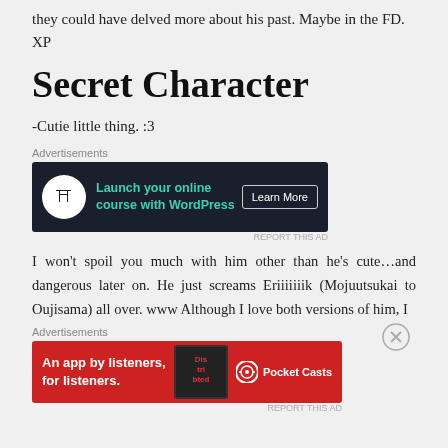they could have delved more about his past. Maybe in the FD. XP
Secret Character
-Cutie little thing. :3
[Figure (other): Dark advertisement banner: Launch your online course with WordPress — Learn More button]
I won't spoil you much with him other than he's cute…and dangerous later on. He just screams Eriiiiiiik (Mojuutsukai to Oujisama) all over. www Although I love both versions of him, I
[Figure (other): Red advertisement banner: An app by listeners, for listeners. — Pocket Casts]